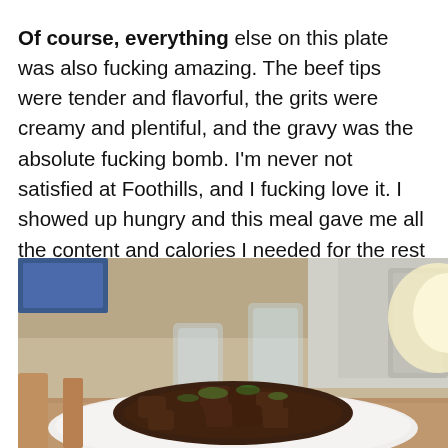Of course, everything else on this plate was also fucking amazing. The beef tips were tender and flavorful, the grits were creamy and plentiful, and the gravy was the absolute fucking bomb. I'm never not satisfied at Foothills, and I fucking love it. I showed up hungry and this meal gave me all the content and calories I needed for the rest of my walk home, as well memorable flavors and textures that I've been craving ever since. Thanks, Foothills! You're always there for me when I need ya!
[Figure (photo): Restaurant plate with beef tips garnished with herbs on a white plate, with water glasses and restaurant interior visible in background]